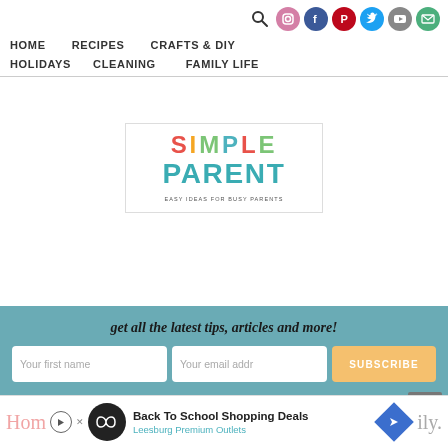Navigation bar with social icons, HOME, RECIPES, CRAFTS & DIY, HOLIDAYS, CLEANING, FAMILY LIFE
[Figure (logo): Simple Parent logo — colorful letters spelling SIMPLE above large teal PARENT, tagline EASY IDEAS FOR BUSY PARENTS]
get all the latest tips, articles and more!
Your first name | Your email addr | SUBSCRIBE
[Figure (infographic): Back To School Shopping Deals advertisement for Leesburg Premium Outlets]
Hom... ily... scroll-to-top button